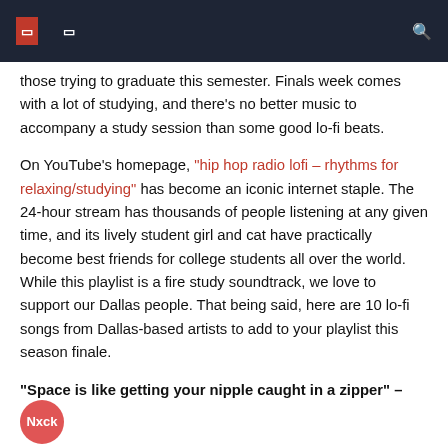those trying to graduate this semester. Finals week comes with a lot of studying, and there's no better music to accompany a study session than some good lo-fi beats.
On YouTube's homepage, "hip hop radio lofi – rhythms for relaxing/studying" has become an iconic internet staple. The 24-hour stream has thousands of people listening at any given time, and its lively student girl and cat have practically become best friends for college students all over the world. While this playlist is a fire study soundtrack, we love to support our Dallas people. That being said, here are 10 lo-fi songs from Dallas-based artists to add to your playlist this season finale.
"Space is like getting your nipple caught in a zipper" – Nxck Lewxs